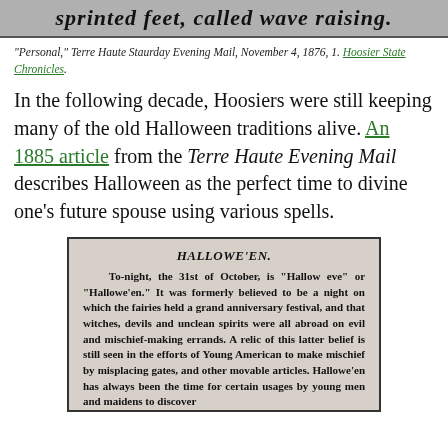[Figure (photo): Cropped top portion of a scanned newspaper article, partially visible, showing bold italic text about sprinted feet, called wave raising or similar, mostly cut off at top of page.]
"Personal," Terre Haute Staurday Evening Mail, November 4, 1876, 1. Hoosier State Chronicles.
In the following decade, Hoosiers were still keeping many of the old Halloween traditions alive. An 1885 article from the Terre Haute Evening Mail describes Halloween as the perfect time to divine one’s future spouse using various spells.
[Figure (photo): Scanned newspaper clipping with headline HALLOWE'EN. To-night, the 31st of October, is “Hallow eve” or “Hallowe’en.” It was formerly believed to be a night on which the fairies held a grand anniversary festival, and that witches, devils and unclean spirits were all abroad on evil and mischief-making errands. A relic of this latter belief is still seen in the efforts of Young American to make mischief by misplacing gates, and other movable articles. Hallowe’en has always been the time for certain usages by young men and maidens to discover...]